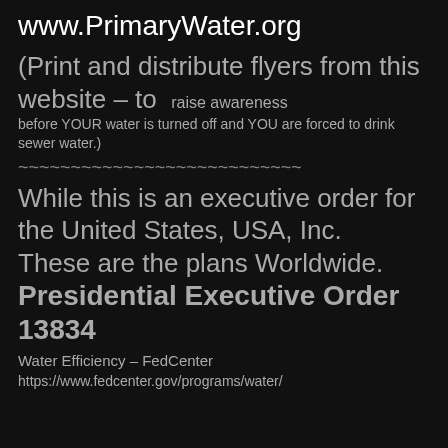www.PrimaryWater.org
(Print and distribute flyers from this website – to  raise awareness before YOUR water is turned off and YOU are forced to drink sewer water.)
~~~~~~~~~~~~~~~~~~~~~~~~~~~
While this is an executive order for the United States, USA, Inc. These are the plans Worldwide. Presidential Executive Order 13834
Water Efficiency – FedCenter
https://www.fedcenter.gov/programs/water/